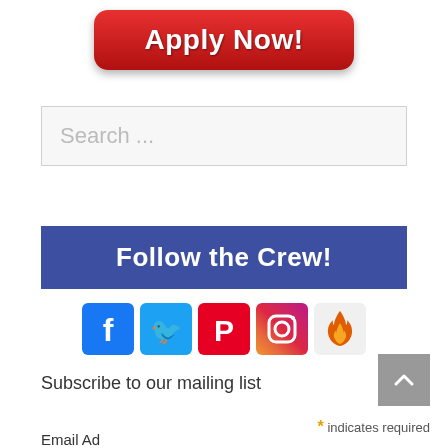[Figure (other): Red gradient Apply Now button with white bold text and rounded corners]
Search ...
Follow the Crew!
[Figure (infographic): Row of social media icons: Facebook (blue), Twitter (light blue), Pinterest (red), Instagram (gradient), and a flame/fire icon (orange/red)]
Subscribe to our mailing list
* indicates required